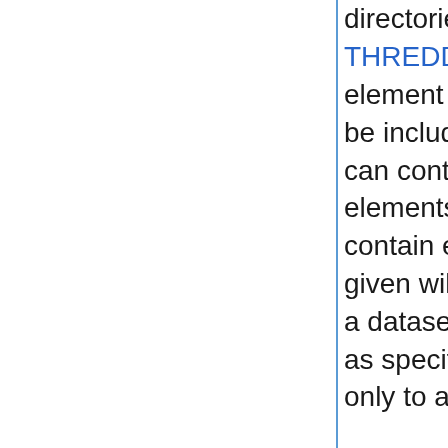directories it will include with a filter element (also see THREDDS server catalog spec for details). The filter element allows users to specify which datasets are to be included in the generated catalogs. A filter element can contain any number of include and exclude elements. Each include or exclude element may contain either a wildcard or a regExp attribute. If the given wildcard pattern or regular expression matches a dataset name, that dataset is included or excluded as specified. By default, includes and excludes apply only to atomic datasets (regular files). You can specify